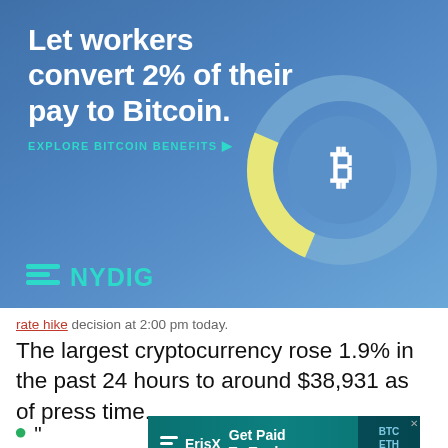[Figure (infographic): NYDIG advertisement banner. Blue gradient background with donut chart showing Bitcoin allocation. Text: 'Let workers convert 2% of their pay to Bitcoin.' with 'EXPLORE BITCOIN BENEFITS' CTA and NYDIG logo.]
rate hike decision at 2:00 pm today.
The largest cryptocurrency rose 1.9% in the past 24 hours to around $38,931 as of press time.
" ... o i... d
[Figure (infographic): ErisX advertisement banner: 'Get Paid To Trade' with ErisX logo and ticker symbols BTC, ETH visible on right side.]